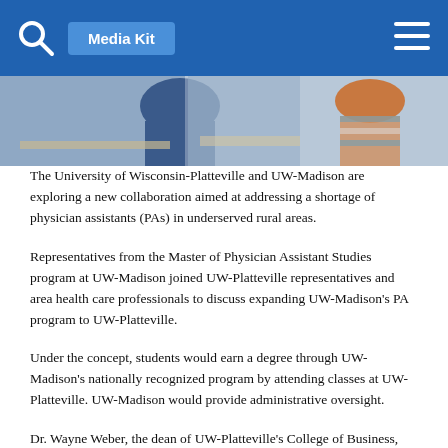Media Kit
[Figure (photo): People sitting at tables, appearing to be in a meeting or workshop setting, writing or taking notes.]
The University of Wisconsin-Platteville and UW-Madison are exploring a new collaboration aimed at addressing a shortage of physician assistants (PAs) in underserved rural areas.
Representatives from the Master of Physician Assistant Studies program at UW-Madison joined UW-Platteville representatives and area health care professionals to discuss expanding UW-Madison’s PA program to UW-Platteville.
Under the concept, students would earn a degree through UW-Madison’s nationally recognized program by attending classes at UW-Platteville. UW-Madison would provide administrative oversight.
Dr. Wayne Weber, the dean of UW-Platteville’s College of Business, Industry, Life Science and Agriculture, said the university’s Health Care Summit in 2017 showed one of the primary